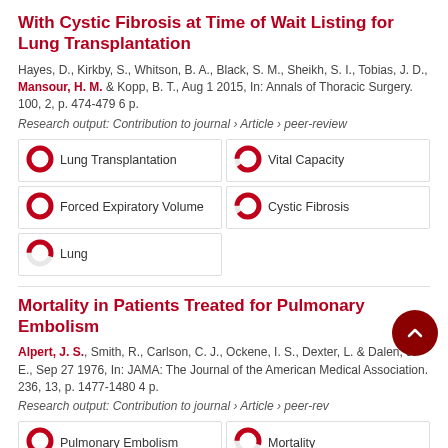With Cystic Fibrosis at Time of Wait Listing for Lung Transplantation
Hayes, D., Kirkby, S., Whitson, B. A., Black, S. M., Sheikh, S. I., Tobias, J. D., Mansour, H. M. & Kopp, B. T., Aug 1 2015, In: Annals of Thoracic Surgery. 100, 2, p. 474-479 6 p.
Research output: Contribution to journal › Article › peer-review
[Figure (infographic): Five keyword boxes with donut/percentage icons: Lung Transplantation (100%), Vital Capacity (90%), Forced Expiratory Volume (100%), Cystic Fibrosis (90%), Lung (55%)]
Mortality in Patients Treated for Pulmonary Embolism
Alpert, J. S., Smith, R., Carlson, C. J., Ockene, I. S., Dexter, L. & Dalen, J. E., Sep 27 1976, In: JAMA: The Journal of the American Medical Association. 236, 13, p. 1477-1480 4 p.
Research output: Contribution to journal › Article › peer-review
[Figure (infographic): Two keyword boxes visible: Pulmonary Embolism (100%), Mortality (55%)]